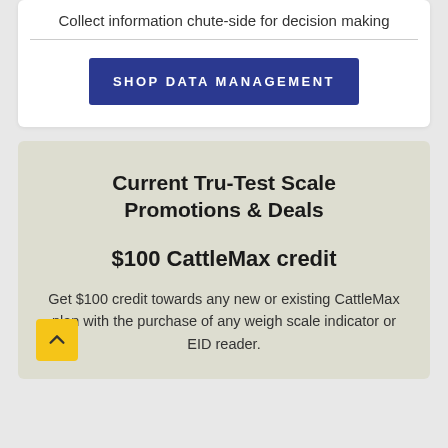Collect information chute-side for decision making
SHOP DATA MANAGEMENT
Current Tru-Test Scale Promotions & Deals
$100 CattleMax credit
Get $100 credit towards any new or existing CattleMax plan with the purchase of any weigh scale indicator or EID reader.